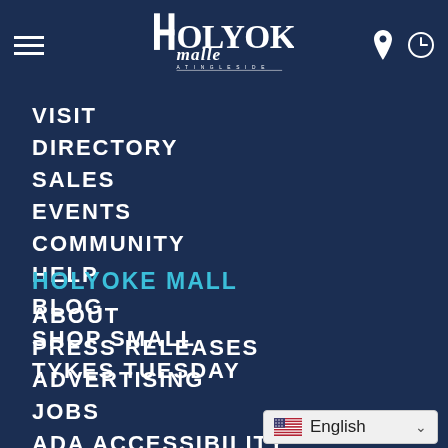[Figure (logo): Holyoke Mall at Ingleside logo in white text]
VISIT
DIRECTORY
SALES
EVENTS
COMMUNITY
HELP
BLOG
SHOP SMALL
TYKES TUESDAY
HOLYOKE MALL
ABOUT
PRESS RELEASES
ADVERTISING
JOBS
ADA ACCESSIBILITY
PRIVACY POLICY
MERCHANT LOGIN
SECURITY
English